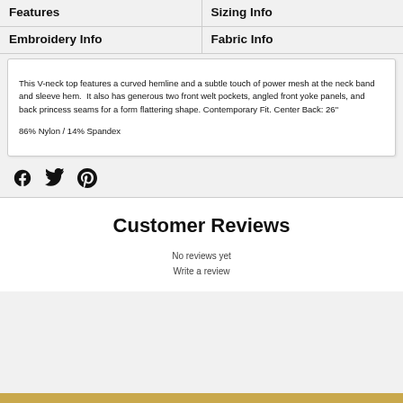Features
Sizing Info
Embroidery Info
Fabric Info
This V-neck top features a curved hemline and a subtle touch of power mesh at the neck band and sleeve hem.  It also has generous two front welt pockets, angled front yoke panels, and back princess seams for a form flattering shape. Contemporary Fit. Center Back: 26"

86% Nylon / 14% Spandex
[Figure (other): Social sharing icons for Facebook, Twitter, and Pinterest]
Customer Reviews
No reviews yet
Write a review